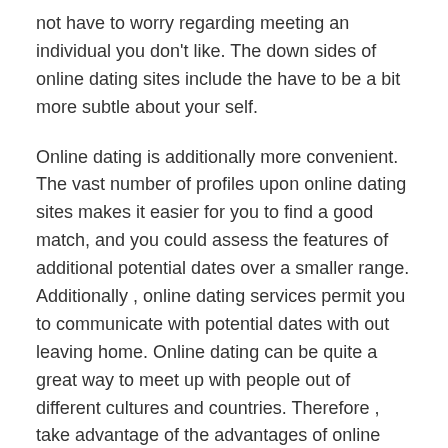not have to worry regarding meeting an individual you don't like. The down sides of online dating sites include the have to be a bit more subtle about your self.
Online dating is additionally more convenient. The vast number of profiles upon online dating sites makes it easier for you to find a good match, and you could assess the features of additional potential dates over a smaller range. Additionally , online dating services permit you to communicate with potential dates with out leaving home. Online dating can be quite a great way to meet up with people out of different cultures and countries. Therefore , take advantage of the advantages of online dating and begin meeting a new person.
One of the greatest advantages of online dating